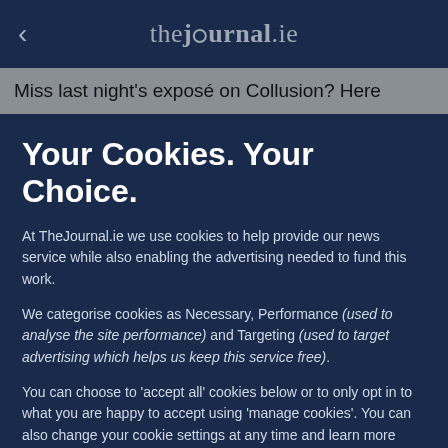< thejournal.ie
Miss last night's exposé on Collusion? Here
Your Cookies. Your Choice.
At TheJournal.ie we use cookies to help provide our news service while also enabling the advertising needed to fund this work.
We categorise cookies as Necessary, Performance (used to analyse the site performance) and Targeting (used to target advertising which helps us keep this service free).
You can choose to 'accept all' cookies below or to only opt in to what you are happy to accept using 'manage cookies'. You can also change your cookie settings at any time and learn more about how we use cookies in our Privacy Policy.